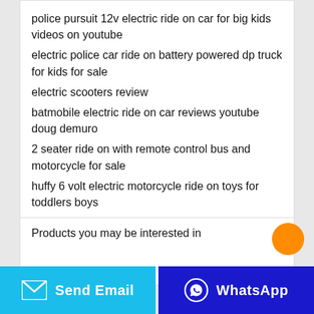police pursuit 12v electric ride on car for big kids videos on youtube
electric police car ride on battery powered dp truck for kids for sale
electric scooters review
batmobile electric ride on car reviews youtube doug demuro
2 seater ride on with remote control bus and motorcycle for sale
huffy 6 volt electric motorcycle ride on toys for toddlers boys
electric ride on for 9 year old boy birthday
electric 24v ride on race cars for kids to drive
free car racing games for kids
Products you may be interested in
Send Email
WhatsApp